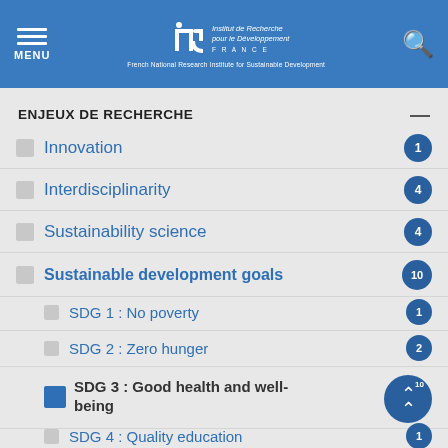MENU | IRD Institut de Recherche pour le Développement FRANCE | French National Research Institute for Sustainable Development
ENJEUX DE RECHERCHE
Innovation — 1
Interdisciplinarity — 4
Sustainability science — 4
Sustainable development goals — 10
SDG 1 : No poverty — 1
SDG 2 : Zero hunger — 2
SDG 3 : Good health and well-being — 10
SDG 4 : Quality education — 1